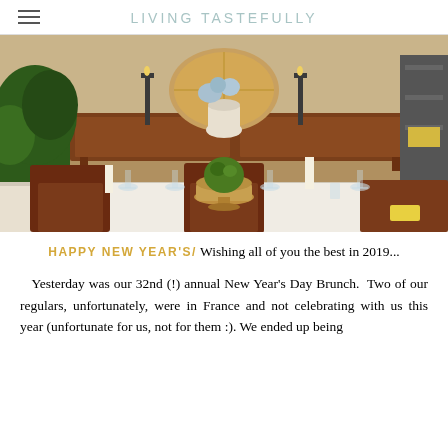LIVING TASTEFULLY
[Figure (photo): A dining room table set for a New Year's Day brunch, with candles, wine glasses, a wicker basket centerpiece with a green moss ball, wooden chairs, a sideboard with candlesticks and flowers in the background, and a plant to the left.]
HAPPY NEW YEAR'S/ Wishing all of you the best in 2019...
Yesterday was our 32nd (!) annual New Year's Day Brunch.  Two of our regulars, unfortunately, were in France and not celebrating with us this year (unfortunate for us, not for them :). We ended up being